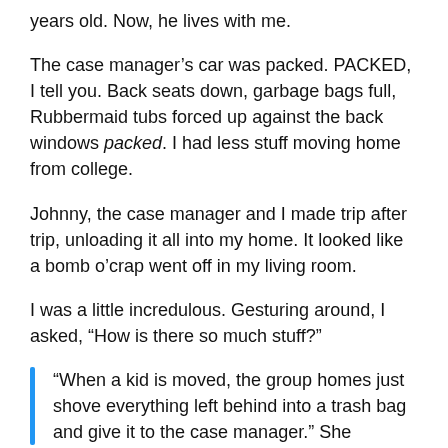years old. Now, he lives with me.
The case manager's car was packed. PACKED, I tell you. Back seats down, garbage bags full, Rubbermaid tubs forced up against the back windows packed. I had less stuff moving home from college.
Johnny, the case manager and I made trip after trip, unloading it all into my home. It looked like a bomb o'crap went off in my living room.
I was a little incredulous. Gesturing around, I asked, “How is there so much stuff?”
“When a kid is moved, the group homes just shove everything left behind into a trash bag and give it to the case manager.” She